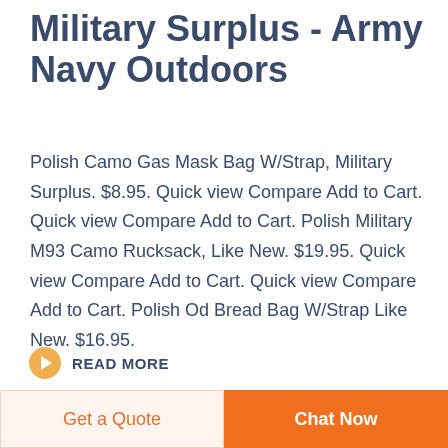Military Surplus - Army Navy Outdoors
Polish Camo Gas Mask Bag W/Strap, Military Surplus. $8.95. Quick view Compare Add to Cart. Quick view Compare Add to Cart. Polish Military M93 Camo Rucksack, Like New. $19.95. Quick view Compare Add to Cart. Quick view Compare Add to Cart. Polish Od Bread Bag W/Strap Like New. $16.95.
READ MORE
[Figure (other): Row of circular badge/seal icons at the bottom of the content area]
Get a Quote
Chat Now